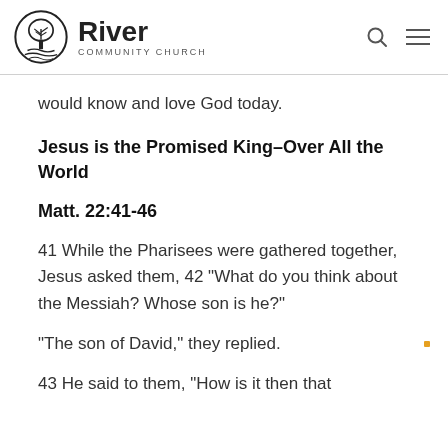River Community Church
would know and love God today.
Jesus is the Promised King–Over All the World
Matt. 22:41-46
41 While the Pharisees were gathered together, Jesus asked them, 42 “What do you think about the Messiah? Whose son is he?”
“The son of David,” they replied.
43 He said to them, “How is it then that